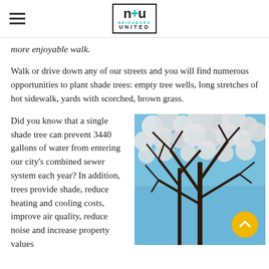Neighbors United [logo]
more enjoyable walk.
Walk or drive down any of our streets and you will find numerous opportunities to plant shade trees: empty tree wells, long stretches of hot sidewalk, yards with scorched, brown grass.
Did you know that a single shade tree can prevent 3440 gallons of water from entering our city's combined sewer system each year? In addition, trees provide shade, reduce heating and cooling costs, improve air quality, reduce noise and increase property values
[Figure (photo): Photo of a flowering tree with white blossoms against a blue sky, with dark bare branches visible. A yellow circular scroll-up button is overlaid in the bottom-right corner.]